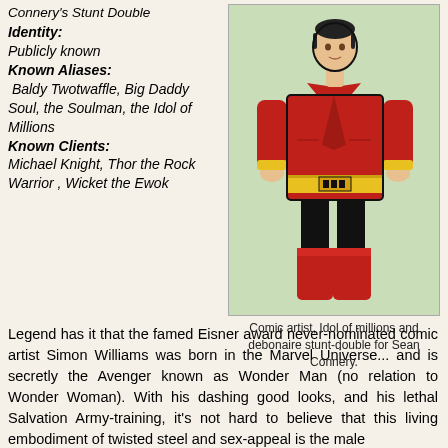Connery's Stunt Double
Identity: Publicly known
Known Aliases: Baldy Twotwaffle, Big Daddy Soul, the Soulman, the Idol of Millions
Known Clients: Michael Knight, Thor the Rock Warrior , Wicket the Ewok
[Figure (illustration): Comic book illustration of a character in a red coat, yellow belt, black pants, and red boots, standing with hands on hips against a light green background.]
Comic artist, Idol of millions and debonaire stunt-double for Sean Connery.
Legend has it that the famed Eisner award never-nominated comic artist Simon Williams was born in the Marvel Universe... and is secretly the Avenger known as Wonder Man (no relation to Wonder Woman). With his dashing good looks, and his lethal Salvation Army-training, it's not hard to believe that this living embodiment of twisted steel and sex-appeal is the male